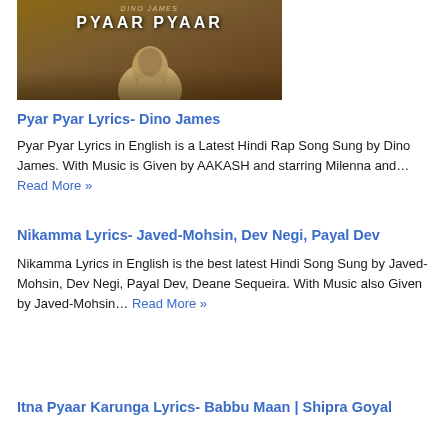[Figure (photo): Album/movie cover for 'Pyaar Pyaar' by Dino James showing a man in a patterned shirt against a warm brown background]
Pyar Pyar Lyrics- Dino James
Pyar Pyar Lyrics in English is a Latest Hindi Rap Song Sung by Dino James. With Music is Given by AAKASH and starring Milenna and… Read More »
Nikamma Lyrics- Javed-Mohsin, Dev Negi, Payal Dev
Nikamma Lyrics in English is the best latest Hindi Song Sung by Javed-Mohsin, Dev Negi, Payal Dev, Deane Sequeira. With Music also Given by Javed-Mohsin… Read More »
Itna Pyaar Karunga Lyrics- Babbu Maan | Shipra Goyal